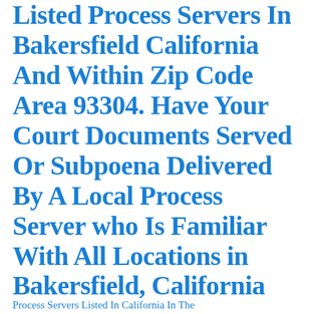Listed Process Servers In Bakersfield California And Within Zip Code Area 93304. Have Your Court Documents Served Or Subpoena Delivered By A Local Process Server who Is Familiar With All Locations in Bakersfield, California
Process Servers Listed In California In The